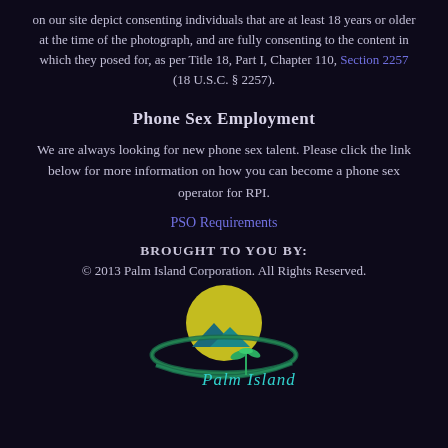on our site depict consenting individuals that are at least 18 years or older at the time of the photograph, and are fully consenting to the content in which they posed for, as per Title 18, Part I, Chapter 110, Section 2257 (18 U.S.C. § 2257).
Phone Sex Employment
We are always looking for new phone sex talent. Please click the link below for more information on how you can become a phone sex operator for RPI.
PSO Requirements
BROUGHT TO YOU BY:
© 2013 Palm Island Corporation. All Rights Reserved.
[Figure (logo): Palm Island Corporation logo with yellow/green circle, teal mountains, and cursive 'Palm Island' text with a palm tree icon]